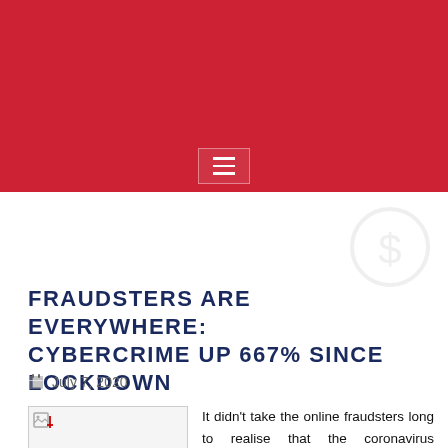FRAUDSTERS ARE EVERYWHERE: CYBERCRIME UP 667% SINCE LOCKDOWN
July 7, 2020
[Figure (illustration): Broken image placeholder with small image icon]
It didn't take the online fraudsters long to realise that the coronavirus lockdown has opened up a whole new avenue of opportunity for them.